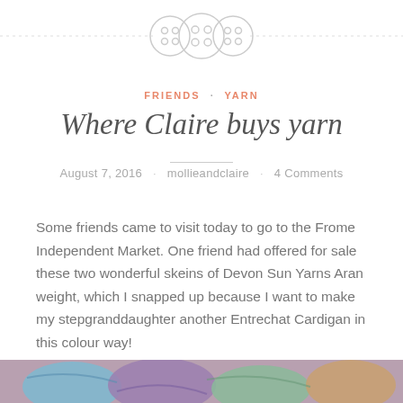[Figure (illustration): Decorative header with three button icons on a dashed horizontal line]
FRIENDS · YARN
Where Claire buys yarn
August 7, 2016 · mollieandclaire · 4 Comments
Some friends came to visit today to go to the Frome Independent Market. One friend had offered for sale these two wonderful skeins of Devon Sun Yarns Aran weight, which I snapped up because I want to make my stepgranddaughter another Entrechat Cardigan in this colour way!
[Figure (photo): Bottom strip showing colourful yarn skeins]